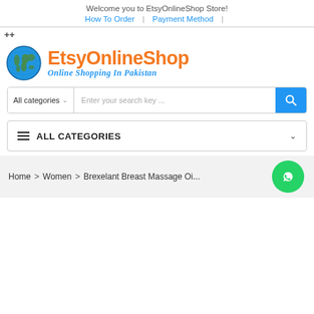Welcome you to EtsyOnlineShop Store!
How To Order | Payment Method |
[Figure (logo): EtsyOnlineShop logo with globe icon, orange 'EtsyOnlineShop' text, and blue italic 'Online Shopping In Pakistan' subtitle]
All categories   Enter your search key ...
ALL CATEGORIES
Home > Women > Brexelant Breast Massage Oi...